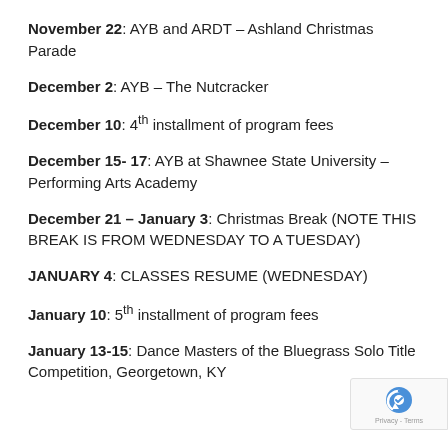November 22: AYB and ARDT – Ashland Christmas Parade
December 2: AYB – The Nutcracker
December 10: 4th installment of program fees
December 15- 17: AYB at Shawnee State University – Performing Arts Academy
December 21 – January 3: Christmas Break (NOTE THIS BREAK IS FROM WEDNESDAY TO A TUESDAY)
JANUARY 4: CLASSES RESUME (WEDNESDAY)
January 10: 5th installment of program fees
January 13-15: Dance Masters of the Bluegrass Solo Title Competition, Georgetown, KY